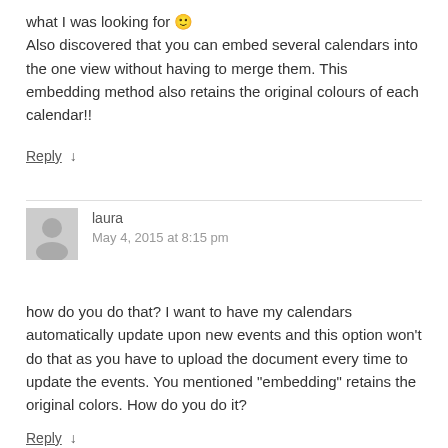what I was looking for 🙂 Also discovered that you can embed several calendars into the one view without having to merge them. This embedding method also retains the original colours of each calendar!!
Reply ↓
laura
May 4, 2015 at 8:15 pm
how do you do that? I want to have my calendars automatically update upon new events and this option won't do that as you have to upload the document every time to update the events. You mentioned "embedding" retains the original colors. How do you do it?
Reply ↓